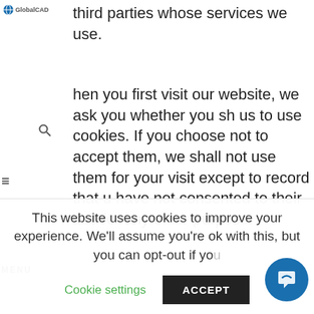GlobalCAD logo
third parties whose services we use.
When you first visit our website, we ask you whether you wish us to use cookies. If you choose not to accept them, we shall not use them for your visit except to record that you have not consented to their use for any other purpose.
If you choose not to use cookies or you prevent their use through your browser settings, you will not be able to use the functionality of our website.
we use cookies in the following ways:
This website uses cookies to improve your experience. We'll assume you're ok with this, but you can opt-out if you
Cookie settings
ACCEPT